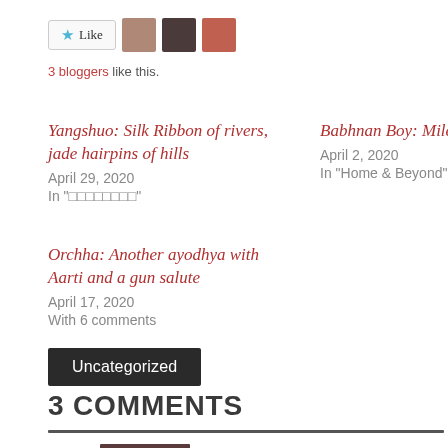[Figure (other): Like button with star icon and three blogger avatar thumbnails]
3 bloggers like this.
Yangshuo: Silk Ribbon of rivers, jade hairpins of hills
April 29, 2020
In "□□□□□□□□"
Babhnan Boy: Milestone Zero
April 2, 2020
In "Home & Beyond"
Orchha: Another ayodhya with Aarti and a gun salute
April 17, 2020
With 6 comments
Uncategorized
3 COMMENTS